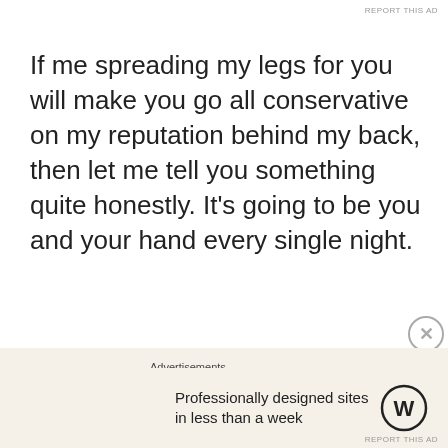REPORT THIS AD
If me spreading my legs for you will make you go all conservative on my reputation behind my back, then let me tell you something quite honestly. It's going to be you and your hand every single night.
Advertisements
[Figure (logo): Pressable logo with blue square icon containing letter P and the word Pressable]
The Platform Where WordPress Works Best
Advertisements
[Figure (logo): WordPress logo (circular W icon) with text: Professionally designed sites in less than a week]
REPORT THIS AD